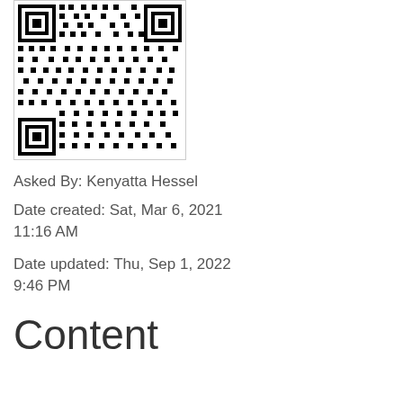[Figure (other): QR code image, black and white, in a bordered box]
Asked By: Kenyatta Hessel
Date created: Sat, Mar 6, 2021 11:16 AM
Date updated: Thu, Sep 1, 2022 9:46 PM
Content